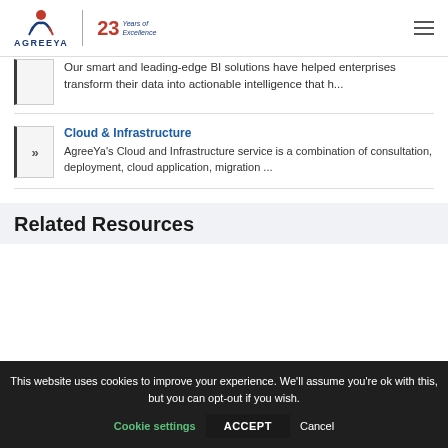[Figure (logo): AgreeYa logo with figure icon and '23 Years of Excellence' badge, plus hamburger menu icon]
Our smart and leading-edge BI solutions have helped enterprises transform their data into actionable intelligence that h...
Cloud & Infrastructure — AgreeYa's Cloud and Infrastructure service is a combination of consultation, deployment, cloud application, migration ...
Related Resources
This website uses cookies to improve your experience. We'll assume you're ok with this, but you can opt-out if you wish.